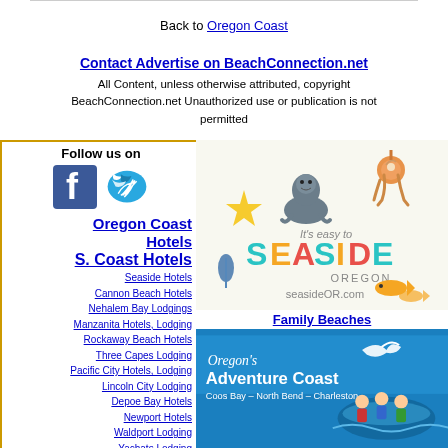Back to Oregon Coast
Contact Advertise on BeachConnection.net
All Content, unless otherwise attributed, copyright BeachConnection.net Unauthorized use or publication is not permitted
[Figure (logo): Follow us on Facebook and Twitter social media icons]
Oregon Coast Hotels
S. Coast Hotels
Seaside Hotels
Cannon Beach Hotels
Nehalem Bay Lodgings
Manzanita Hotels, Lodging
Rockaway Beach Hotels
Three Capes Lodging
Pacific City Hotels, Lodging
Lincoln City Lodging
Depoe Bay Hotels
Newport Hotels
Waldport Lodging
Yachats Lodging
Oregon Coast Vacation
[Figure (illustration): Seaside Oregon ad with starfish, seal, and merry-go-round horse icons, colorful SEASIDE OREGON text, seasideOR.com, fish icons]
Family Beaches
[Figure (photo): Oregon's Adventure Coast – Coos Bay – North Bend – Charleston ad with people on boat]